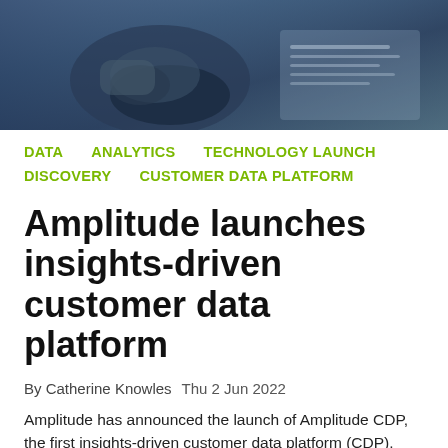[Figure (photo): Close-up photo of a person's hand on a desk with documents and a laptop in the background, dark blue tones]
DATA   ANALYTICS   TECHNOLOGY LAUNCH   DISCOVERY   CUSTOMER DATA PLATFORM
Amplitude launches insights-driven customer data platform
By Catherine Knowles  Thu 2 Jun 2022
Amplitude has announced the launch of Amplitude CDP, the first insights-driven customer data platform (CDP).
The platform both collects and analyses event data with its natively integrated product analytics solution. According to the company, with Amplitude